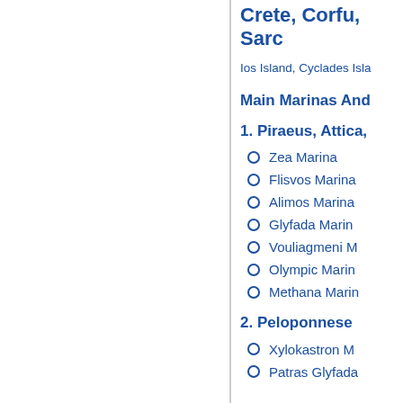Crete, Corfu, Sarc…
Ios Island, Cyclades Isla…
Main Marinas And…
1. Piraeus, Attica,…
Zea Marina
Flisvos Marina
Alimos Marina
Glyfada Marina
Vouliagmeni M…
Olympic Marina
Methana Marina
2. Peloponnese
Xylokastron M…
Patras Glyfada…